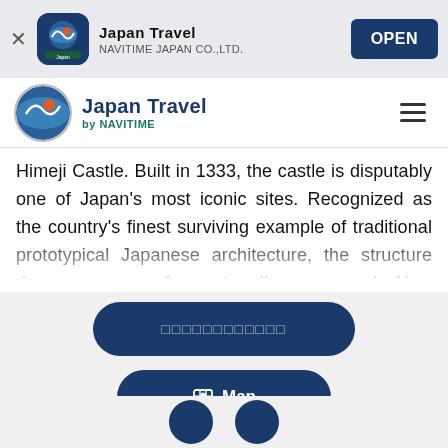Japan Travel - NAVITIME JAPAN CO.,LTD. - OPEN
[Figure (screenshot): Japan Travel by NAVITIME navigation bar with logo and hamburger menu]
Himeji Castle. Built in 1333, the castle is disputably one of Japan's most iconic sites. Recognized as the country's finest surviving example of traditional prototypical Japanese architecture, the structure draws swarms of guests all year round. Now officially awarded UNESCO World Heritage Site status, this brilliantly white, feudal era castle is comprised of 83 buildings and features some of the most advanced defense mechanisms of any castle from its time. Managing to avoid the devastating effects of war and natural disaster, Himeji is one of only 12 original remaining...
[Figure (screenshot): Dark navy rounded button with Japanese text characters]
[Figure (screenshot): Dark navy rounded Map button with map icon]